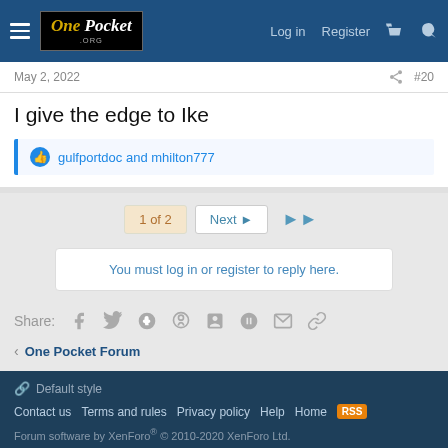One Pocket Forum — Log in | Register
May 2, 2022  #20
I give the edge to Ike
gulfportdoc and mhilton777
1 of 2  Next  ▶▶
You must log in or register to reply here.
Share:
One Pocket Forum
Default style  Contact us  Terms and rules  Privacy policy  Help  Home  Forum software by XenForo® © 2010-2020 XenForo Ltd.